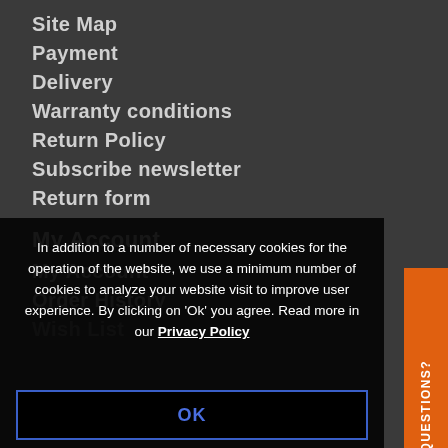Site Map
Payment
Delivery
Warranty conditions
Return Policy
Subscribe newsletter
Return form
My Account
My Account
Order History
Wish List
In addition to a number of necessary cookies for the operation of the website, we use a minimum number of cookies to analyze your website visit to improve user experience. By clicking on 'Ok' you agree. Read more in our Privacy Policy
OK
QUESTIONS?